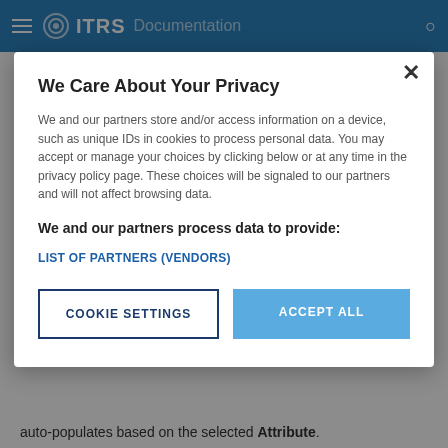ITRS Documentation
We Care About Your Privacy
We and our partners store and/or access information on a device, such as unique IDs in cookies to process personal data. You may accept or manage your choices by clicking below or at any time in the privacy policy page. These choices will be signaled to our partners and will not affect browsing data.
We and our partners process data to provide:
LIST OF PARTNERS (VENDORS)
COOKIE SETTINGS
ACCEPT ALL
auto-populates based on the selected Attribute.
You can create an unlimited number of Filters.
To remove a Filter, click the cross button next to the Filter.
Advanced Filter